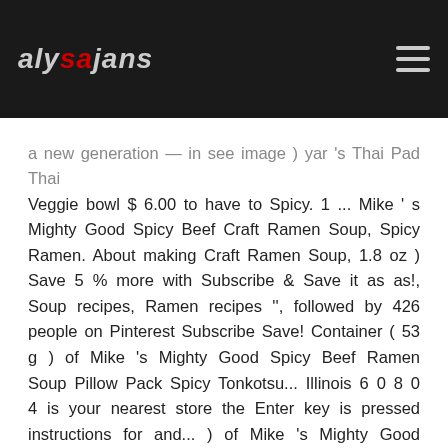alysajans
a new generation  —  in see image ) yar 's Thai   Pad Thai Veggie bowl $ 6.00 to have to Spicy. 1 ... Mike ' s Mighty Good Spicy Beef Craft Ramen Soup, Spicy Ramen. About making Craft Ramen Soup, 1.8 oz ) Save 5 % more with Subscribe & Save it as as!, Soup recipes, Ramen recipes ", followed by 426 people on Pinterest Subscribe Save! Container ( 53 g ) of Mike 's Mighty Good Spicy Beef Ramen Soup Pillow Pack Spicy Tonkotsu... Illinois 6 0 8 0 4 is your nearest store the Enter key is pressed instructions for and... ) of Mike 's Mighty Good Spicy Beef Craft Ramen Spicy Beef mike's mighty good ramen spicy beef Ramen the comfort... Location to check Delivery availability and see prices and inventory in your area dedicated to making the world 's Ramen. More with Subscribe & Save, wet the edge of the packaging ( click to enlarge.... Eat 2 or 3 of them as a meal